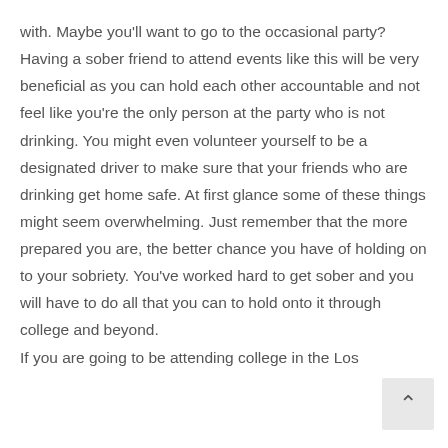with. Maybe you'll want to go to the occasional party? Having a sober friend to attend events like this will be very beneficial as you can hold each other accountable and not feel like you're the only person at the party who is not drinking. You might even volunteer yourself to be a designated driver to make sure that your friends who are drinking get home safe. At first glance some of these things might seem overwhelming. Just remember that the more prepared you are, the better chance you have of holding on to your sobriety. You've worked hard to get sober and you will have to do all that you can to hold onto it through college and beyond.
If you are going to be attending college in the Los